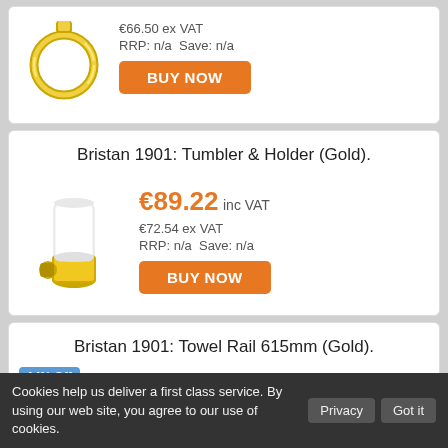[Figure (photo): Partial view of a gold towel ring product photo at top of page]
€66.50 ex VAT
RRP: n/a  Save: n/a
BUY NOW
Bristan 1901: Tumbler & Holder (Gold).
[Figure (photo): Gold and white ceramic tumbler holder product photo]
€89.22 inc VAT
€72.54 ex VAT
RRP: n/a  Save: n/a
BUY NOW
Bristan 1901: Towel Rail 615mm (Gold).
14% Off
€110.31 inc VAT & Delivery
Cookies help us deliver a first class service. By using our web site, you agree to our use of cookies.
Privacy
Got it